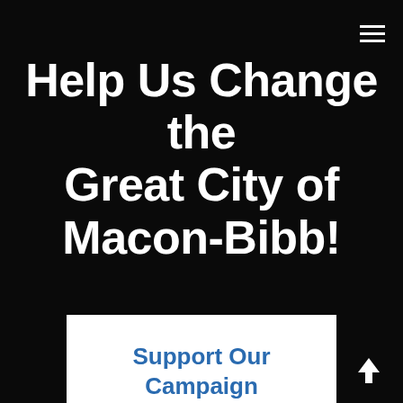Help Us Change the Great City of Macon-Bibb!
Support Our Campaign